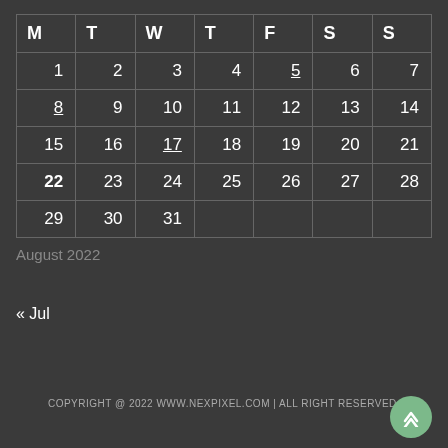| M | T | W | T | F | S | S |
| --- | --- | --- | --- | --- | --- | --- |
| 1 | 2 | 3 | 4 | 5 | 6 | 7 |
| 8 | 9 | 10 | 11 | 12 | 13 | 14 |
| 15 | 16 | 17 | 18 | 19 | 20 | 21 |
| 22 | 23 | 24 | 25 | 26 | 27 | 28 |
| 29 | 30 | 31 |  |  |  |  |
August 2022
« Jul
COPYRIGHT @ 2022 WWW.NEXPIXEL.COM | ALL RIGHT RESERVED.